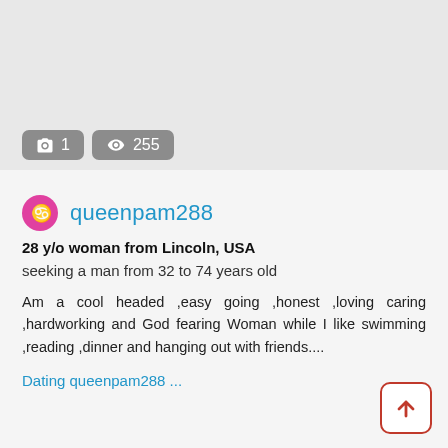[Figure (photo): Light gray photo placeholder area at the top of the profile card]
1   255
queenpam288
28 y/o woman from Lincoln, USA
seeking a man from 32 to 74 years old
Am a cool headed ,easy going ,honest ,loving caring ,hardworking and God fearing Woman while I like swimming ,reading ,dinner and hanging out with friends....
Dating queenpam288 ...